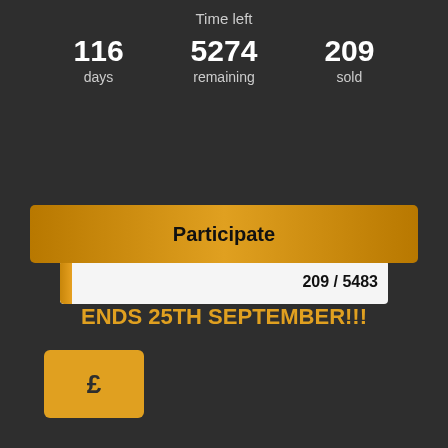Time left
116
days
5274
remaining
209
sold
[Figure (infographic): A horizontal progress bar showing 209 / 5483 tickets sold. The bar is mostly white/light with a small golden-orange filled portion on the left representing 209 sold. The label '209 / 5483' appears on the right side of the bar.]
Participate
ENDS 25TH SEPTEMBER!!!
£